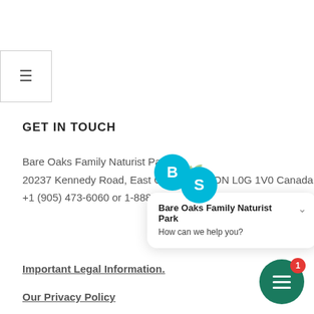[Figure (screenshot): Hamburger menu button (three horizontal lines) in a bordered box at top left]
GET IN TOUCH
Bare Oaks Family Naturist Park
20237 Kennedy Road, East Gwillimbury, ON L0G 1V0 Canada
+1 (905) 473-6060 or 1-888-373-...
[Figure (screenshot): Chat widget popup with two cyan circular avatars labeled B and S, a small leaf/hand icon, title 'Bare Oaks Family Naturist Park' and subtitle 'How can we help you?']
Important Legal Information.
Our Privacy Policy
[Figure (screenshot): Green circular chat icon button with three white lines and a red notification badge showing 1]